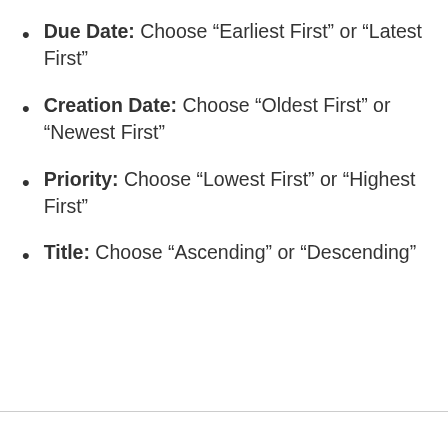Due Date: Choose “Earliest First” or “Latest First”
Creation Date: Choose “Oldest First” or “Newest First”
Priority: Choose “Lowest First” or “Highest First”
Title: Choose “Ascending” or “Descending”